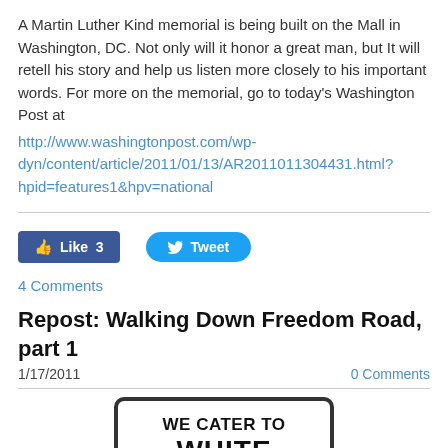A Martin Luther Kind memorial is being built on the Mall in Washington, DC. Not only will it honor a great man, but It will retell his story and help us listen more closely to his important words. For more on the memorial, go to today's Washington Post at
http://www.washingtonpost.com/wp-dyn/content/article/2011/01/13/AR2011011304431.html?hpid=features1&hpv=national
[Figure (screenshot): Social media buttons: Facebook Like (3) and Twitter Tweet]
4 Comments
Repost: Walking Down Freedom Road, part 1
1/17/2011
0 Comments
[Figure (photo): Sign reading WE CATER TO WHITE TRADE (partially visible)]